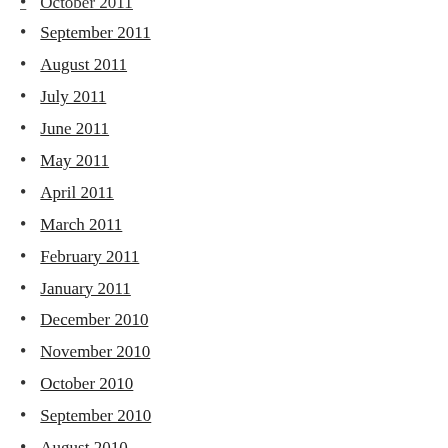October 2011 (partial, cut off at top)
September 2011
August 2011
July 2011
June 2011
May 2011
April 2011
March 2011
February 2011
January 2011
December 2010
November 2010
October 2010
September 2010
August 2010
July 2010
June 2010
May 2010 (partial, cut off at bottom)